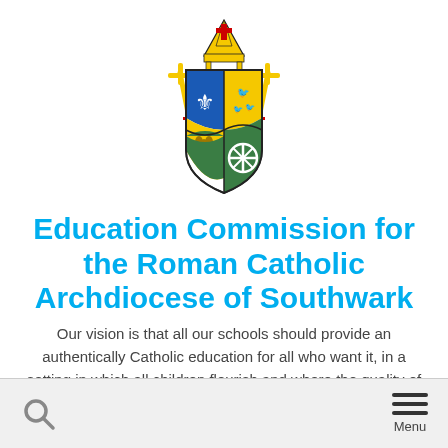[Figure (logo): Coat of arms / heraldic crest of the Roman Catholic Archdiocese of Southwark: a shield quartered with blue (fleur-de-lis), green (cross), and gold (birds/wheat), topped with a bishop's mitre and crossed with gold staffs and red crosses on ribbons.]
Education Commission for the Roman Catholic Archdiocese of Southwark
Our vision is that all our schools should provide an authentically Catholic education for all who want it, in a setting in which all children flourish and where the quality of education, including educational standards, is exemplary.
Search | Menu